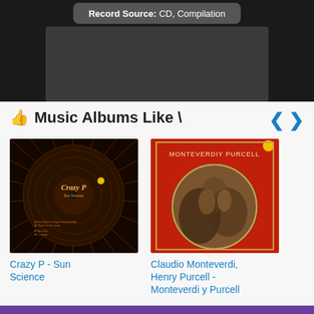Record Source: CD, Compilation
Music Albums Like …
[Figure (photo): Album cover for Crazy P - Sun Science: vinyl record with orange radial lines on dark background]
Crazy P - Sun Science
[Figure (photo): Album cover for Claudio Monteverdi, Henry Purcell - Monteverdi y Purcell: red cover with circular baroque painting]
Claudio Monteverdi, Henry Purcell - Monteverdi y Purcell